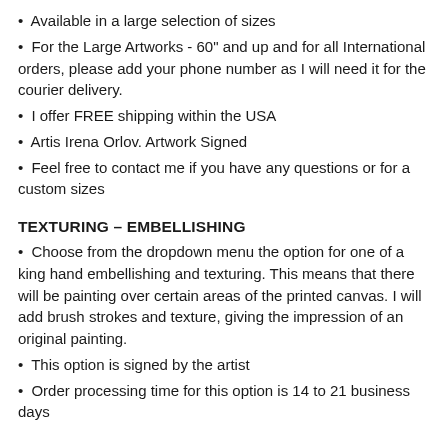Available in a large selection of sizes
For the Large Artworks - 60" and up and for all International orders, please add your phone number as I will need it for the courier delivery.
I offer FREE shipping within the USA
Artis Irena Orlov. Artwork Signed
Feel free to contact me if you have any questions or for a custom sizes
TEXTURING – EMBELLISHING
Choose from the dropdown menu the option for one of a king hand embellishing and texturing. This means that there will be painting over certain areas of the printed canvas. I will add brush strokes and texture, giving the impression of an original painting.
This option is signed by the artist
Order processing time for this option is 14 to 21 business days